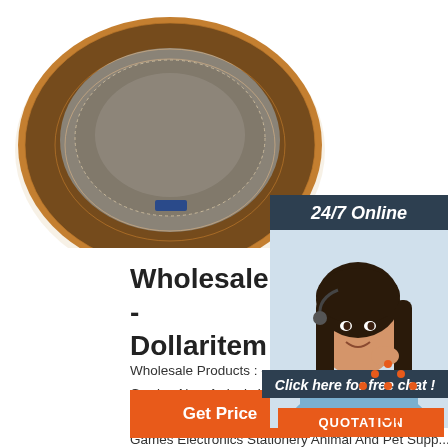[Figure (photo): Top-down view of a brown straw hat with beige interior lining and small blue label, photographed from above on white background]
24/7 Online
[Figure (photo): Customer service representative woman with headset, smiling, wearing light blue shirt]
Click here for free chat !
QUOTATION
Wholesale Products - Dollaritem
Wholesale Products : - Floral Supply. Glass Vases H... Garden New Arrivals Licensed Items Hardware Appa... Seasonal Baby Products HEALTH AND BEAUTY To... Games Electronics Stationery Animal And Pet Supp... Backpack Bags & Luggage Store Supply Vehicles Parts And Accessories Party Supplies Sporting Goods Food And Beverages Close Outs FLORAL SUPPLY ...
[Figure (other): TOP button with orange dots forming upward arrow above orange TOP text]
Get Price